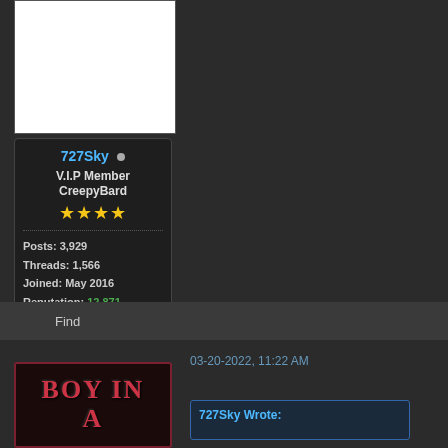[Figure (photo): White avatar/profile image placeholder]
727Sky • V.I.P Member CreepyBard ★★★★ Posts: 3,929 Threads: 1,566 Joined: May 2016 Reputation: 12,871
Find
03-20-2022, 11:22 AM
[Figure (illustration): Book cover image showing 'BOY IN A' text in red serif letters on dark textured background with red border]
727Sky Wrote: